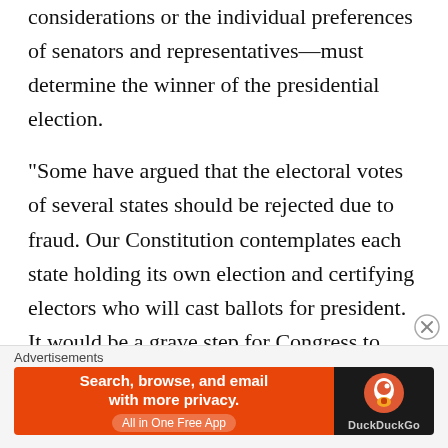considerations or the individual preferences of senators and representatives—must determine the winner of the presidential election.
“Some have argued that the electoral votes of several states should be rejected due to fraud. Our Constitution contemplates each state holding its own election and certifying electors who will cast ballots for president. It would be a grave step for Congress to refuse to count electoral votes that are certified by their state government. At an absolute minimum, I believe that Congress should only consider rejecting the electoral votes certified by a state when there is clear and
[Figure (other): Advertisement banner for DuckDuckGo app. Orange left section reads 'Search, browse, and email with more privacy. All in One Free App'. Dark right section shows DuckDuckGo logo and text.]